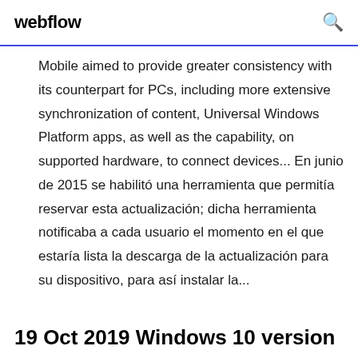webflow
Mobile aimed to provide greater consistency with its counterpart for PCs, including more extensive synchronization of content, Universal Windows Platform apps, as well as the capability, on supported hardware, to connect devices... En junio de 2015 se habilitó una herramienta que permitía reservar esta actualización; dicha herramienta notificaba a cada usuario el momento en el que estaría lista la descarga de la actualización para su dispositivo, para así instalar la...
19 Oct 2019 Windows 10 version